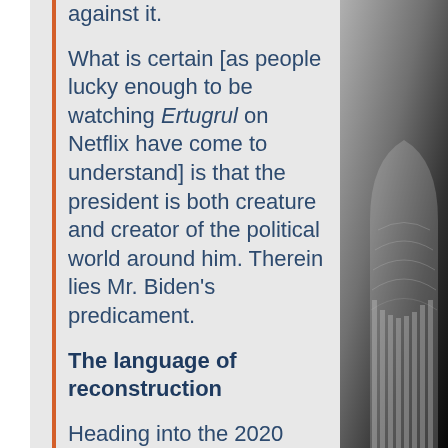against it.
What is certain [as people lucky enough to be watching Ertugrul on Netflix have come to understand] is that the president is both creature and creator of the political world around him. Therein lies Mr. Biden's predicament.
The language of reconstruction
Heading into the 2020 Democratic primaries, many